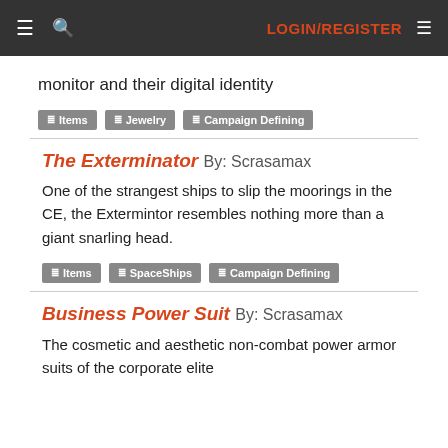LOGIN/REGISTER
monitor and their digital identity
Items  Jewelry  Campaign Defining
The Exterminator By: Scrasamax
One of the strangest ships to slip the moorings in the CE, the Extermintor resembles nothing more than a giant snarling head.
Items  SpaceShips  Campaign Defining
Business Power Suit By: Scrasamax
The cosmetic and aesthetic non-combat power armor suits of the corporate elite